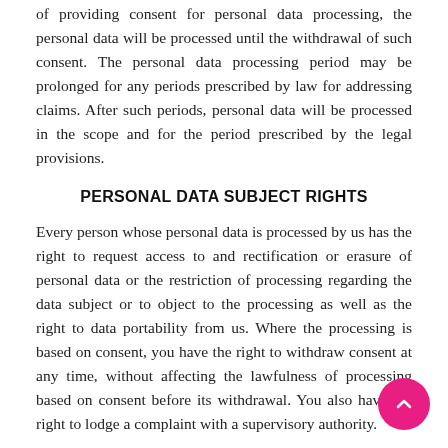of providing consent for personal data processing, the personal data will be processed until the withdrawal of such consent. The personal data processing period may be prolonged for any periods prescribed by law for addressing claims. After such periods, personal data will be processed in the scope and for the period prescribed by the legal provisions.
PERSONAL DATA SUBJECT RIGHTS
Every person whose personal data is processed by us has the right to request access to and rectification or erasure of personal data or the restriction of processing regarding the data subject or to object to the processing as well as the right to data portability from us. Where the processing is based on consent, you have the right to withdraw consent at any time, without affecting the lawfulness of processing based on consent before its withdrawal. You also have the right to lodge a complaint with a supervisory authority.
OTHER INFORMATION REGARDING THE PROCESSING OF PERSONAL DATA
The processing of your personal data is necessary to enter into a